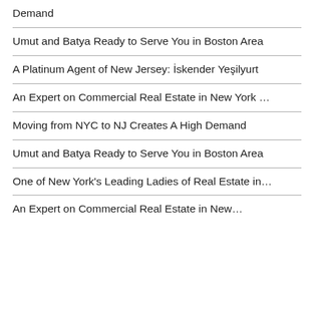Demand
Umut and Batya Ready to Serve You in Boston Area
A Platinum Agent of New Jersey: İskender Yeşilyurt
An Expert on Commercial Real Estate in New York …
Moving from NYC to NJ Creates A High Demand
Umut and Batya Ready to Serve You in Boston Area
One of New York's Leading Ladies of Real Estate in…
An Expert on Commercial Real Estate in New…